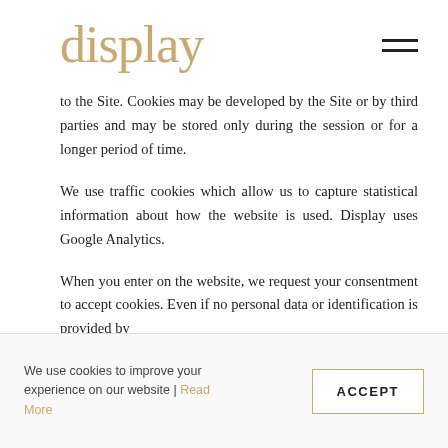display
to the Site. Cookies may be developed by the Site or by third parties and may be stored only during the session or for a longer period of time.
We use traffic cookies which allow us to capture statistical information about how the website is used. Display uses Google Analytics.
When you enter on the website, we request your consentment to accept cookies. Even if no personal data or identification is provided by
We use cookies to improve your experience on our website | Read More ACCEPT